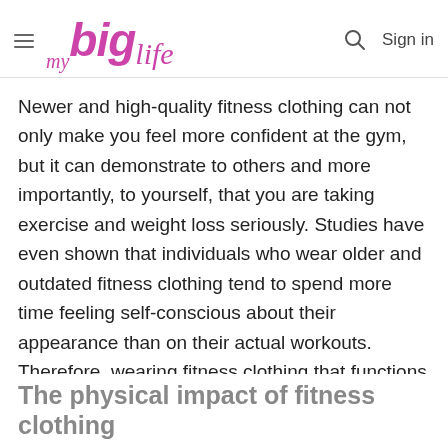my big life — Sign in
Newer and high-quality fitness clothing can not only make you feel more confident at the gym, but it can demonstrate to others and more importantly, to yourself, that you are taking exercise and weight loss seriously. Studies have even shown that individuals who wear older and outdated fitness clothing tend to spend more time feeling self-conscious about their appearance than on their actual workouts. Therefore, wearing fitness clothing that functions optimally can allow you to devote more time to getting the most out of your training sessions and less time to thinking about how you look in your workout gear.
The physical impact of fitness clothing